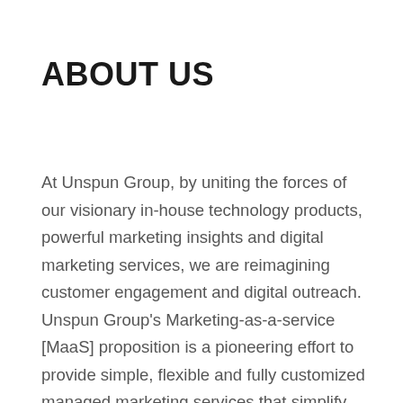ABOUT US
At Unspun Group, by uniting the forces of our visionary in-house technology products, powerful marketing insights and digital marketing services, we are reimagining customer engagement and digital outreach. Unspun Group's Marketing-as-a-service [MaaS] proposition is a pioneering effort to provide simple, flexible and fully customized managed marketing services that simplify how companies engage